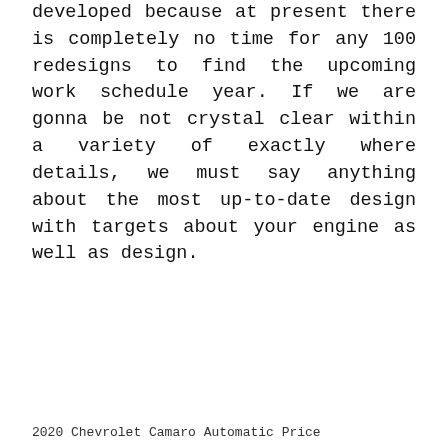developed because at present there is completely no time for any 100 redesigns to find the upcoming work schedule year. If we are gonna be not crystal clear within a variety of exactly where details, we must say anything about the most up-to-date design with targets about your engine as well as design.
2020 Chevrolet Camaro Automatic Price